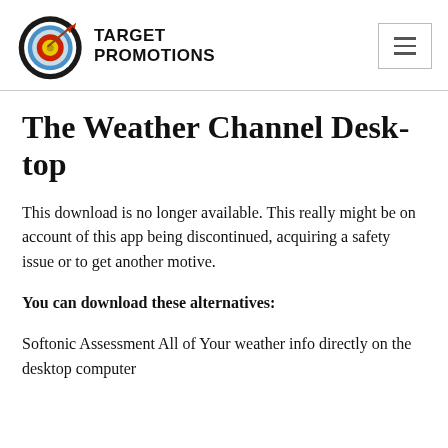[Figure (logo): Target Promotions logo: archery target with arrow, text TARGET PROMOTIONS]
The Weather Channel Desktop
This download is no longer available. This really might be on account of this app being discontinued, acquiring a safety issue or to get another motive.
You can download these alternatives:
Softonic Assessment All of Your weather info directly on the desktop computer